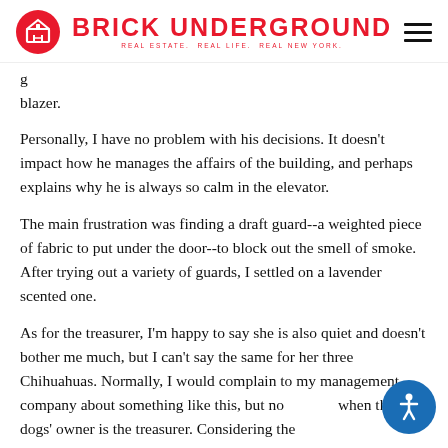BRICK UNDERGROUND — REAL ESTATE. REAL LIFE. REAL NEW YORK.
g blazer.
Personally, I have no problem with his decisions. It doesn't impact how he manages the affairs of the building, and perhaps explains why he is always so calm in the elevator.
The main frustration was finding a draft guard--a weighted piece of fabric to put under the door--to block out the smell of smoke. After trying out a variety of guards, I settled on a lavender scented one.
As for the treasurer, I'm happy to say she is also quiet and doesn't bother me much, but I can't say the same for her three Chihuahuas. Normally, I would complain to my management company about something like this, but not when the dogs' owner is the treasurer. Considering the